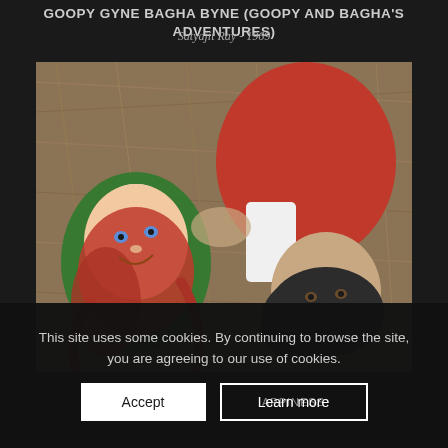GOOPY GYNE BAGHA BYNE (GOOPY AND BAGHA'S ADVENTURES)
Satyajit Ray - 1969
[Figure (photo): Two children lying on dry hay/straw. Left child has red hair and wears a green top with white collar. Right child wears a red outfit with white, and has glasses with dark hair. Aerial/overhead view.]
This site uses some cookies. By continuing to browse the site, you are agreeing to our use of cookies.
Accept
Learn more